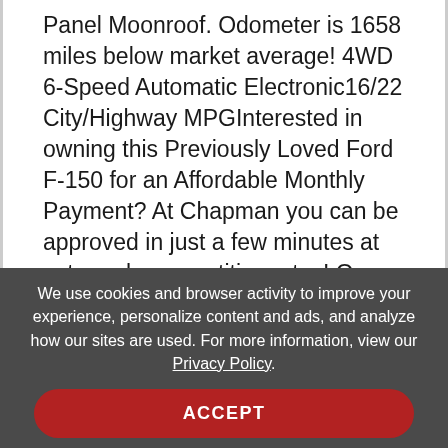Panel Moonroof. Odometer is 1658 miles below market average! 4WD 6-Speed Automatic Electronic16/22 City/Highway MPGInterested in owning this Previously Loved Ford F-150 for an Affordable Monthly Payment? At Chapman you can be approved in just a few minutes at extremely competitive rates! Our Finance Specialists have relationships
We use cookies and browser activity to improve your experience, personalize content and ads, and analyze how our sites are used. For more information, view our Privacy Policy.
ACCEPT